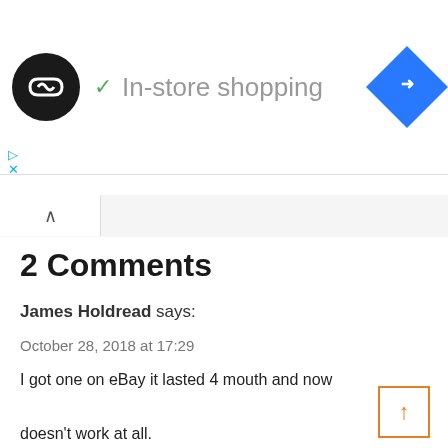[Figure (logo): Ad banner with circular logo, checkmark, 'In-store shopping' text, and blue diamond navigation icon]
2 Comments
James Holdread says:
October 28, 2018 at 17:29
I got one on eBay it lasted 4 mouth and now doesn't work at all.
Warranty only last 3 mouth.
Once again made in China, such a
[Figure (other): Scroll-to-top button: orange-bordered square with upward arrow]